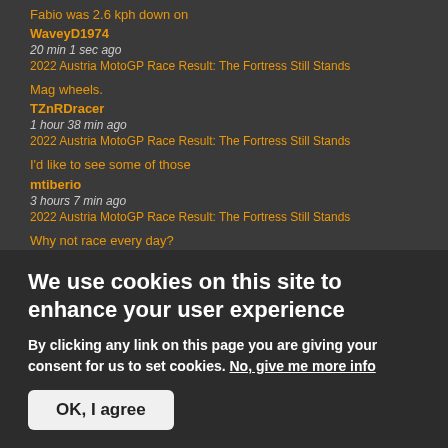Fabio was 2.6 kph down on
WaveyD1974
20 min 1 sec ago
2022 Austria MotoGP Race Result: The Fortress Still Stands
Mag wheels.
TZnRDracer
1 hour 38 min ago
2022 Austria MotoGP Race Result: The Fortress Still Stands
I'd like to see some of those
mtiberio
3 hours 7 min ago
2022 Austria MotoGP Race Result: The Fortress Still Stands
Why not race every day?
We use cookies on this site to enhance your user experience
By clicking any link on this page you are giving your consent for us to set cookies. No, give me more info
OK, I agree